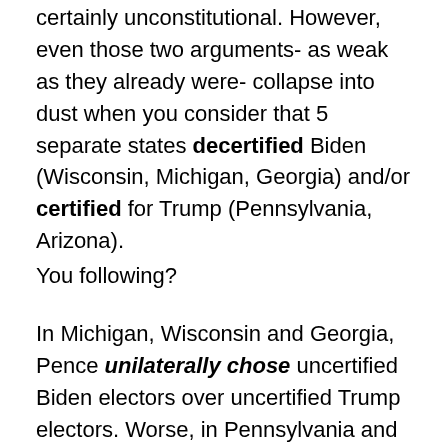certainly unconstitutional. However, even those two arguments- as weak as they already were- collapse into dust when you consider that 5 separate states decertified Biden (Wisconsin, Michigan, Georgia) and/or certified for Trump (Pennsylvania, Arizona).
You following?
In Michigan, Wisconsin and Georgia, Pence unilaterally chose uncertified Biden electors over uncertified Trump electors. Worse, in Pennsylvania and Arizona, Pence unilaterally chose uncertified Biden electors over certified Trump electors. He was presented with an